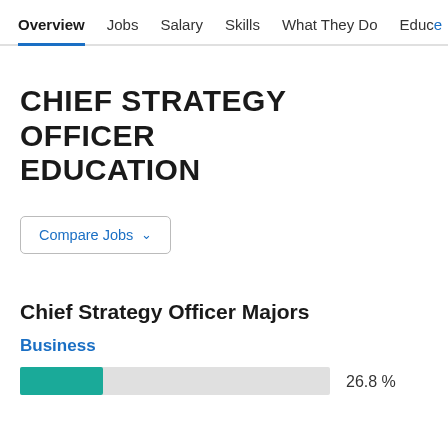Overview  Jobs  Salary  Skills  What They Do  Educa >
CHIEF STRATEGY OFFICER EDUCATION
Compare Jobs ∨
Chief Strategy Officer Majors
Business
[Figure (bar-chart): Chief Strategy Officer Majors]